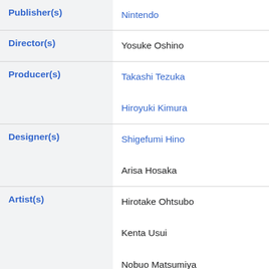| Role | Name |
| --- | --- |
| Publisher(s) | Nintendo |
| Director(s) | Yosuke Oshino |
| Producer(s) | Takashi Tezuka
Hiroyuki Kimura |
| Designer(s) | Shigefumi Hino
Arisa Hosaka |
| Artist(s) | Hirotake Ohtsubo
Kenta Usui
Nobuo Matsumiya
Mari Shibata |
| Composer(s) | Koji Kondo
Naoto Kubo
Asuka Hayazaki |